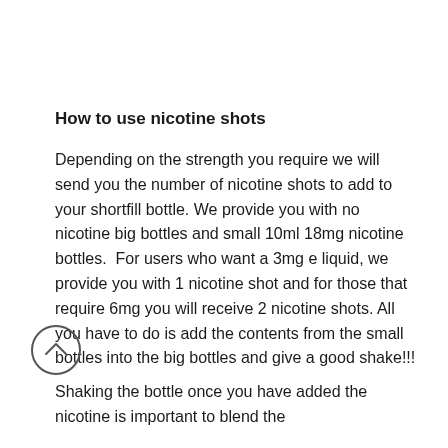How to use nicotine shots
Depending on the strength you require we will send you the number of nicotine shots to add to your shortfill bottle. We provide you with no nicotine big bottles and small 10ml 18mg nicotine bottles.  For users who want a 3mg e liquid, we provide you with 1 nicotine shot and for those that require 6mg you will receive 2 nicotine shots. All you have to do is add the contents from the small bottles into the big bottles and give a good shake!!!
Shaking the bottle once you have added the nicotine is important to blend the